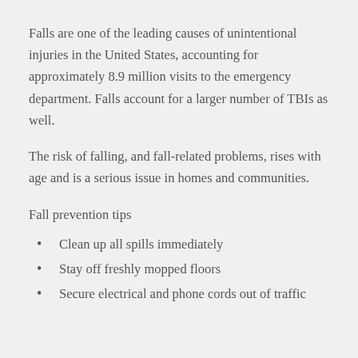Falls are one of the leading causes of unintentional injuries in the United States, accounting for approximately 8.9 million visits to the emergency department. Falls account for a larger number of TBIs as well.
The risk of falling, and fall-related problems, rises with age and is a serious issue in homes and communities.
Fall prevention tips
Clean up all spills immediately
Stay off freshly mopped floors
Secure electrical and phone cords out of traffic